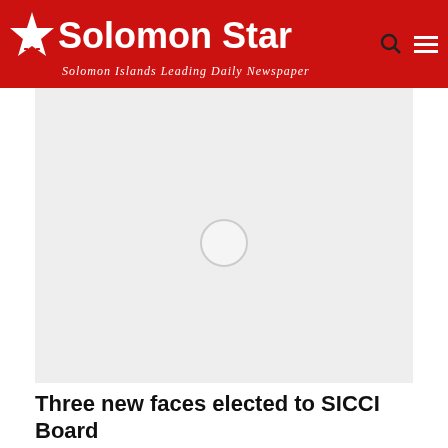[Figure (logo): Solomon Star newspaper logo with star icon and tagline 'Solomon Islands Leading Daily Newspaper' on red background with search and menu icons]
[Figure (photo): Loading image placeholder with spinner circle on light gray background]
Three new faces elected to SICCI Board